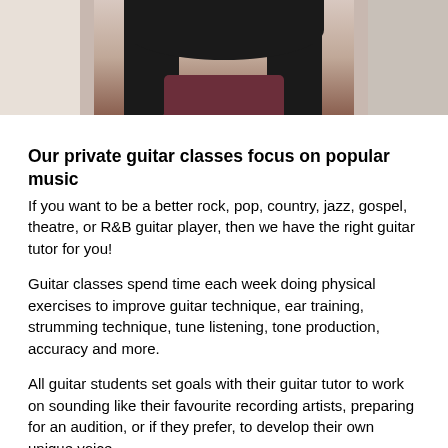[Figure (photo): Photo of a woman with dark hair wearing a dark red/maroon top, partially cropped at the top of the page]
Our private guitar classes focus on popular music
If you want to be a better rock, pop, country, jazz, gospel, theatre, or R&B guitar player, then we have the right guitar tutor for you!
Guitar classes spend time each week doing physical exercises to improve guitar technique, ear training, strumming technique, tune listening, tone production, accuracy and more.
All guitar students set goals with their guitar tutor to work on sounding like their favourite recording artists, preparing for an audition, or if they prefer, to develop their own unique voice.